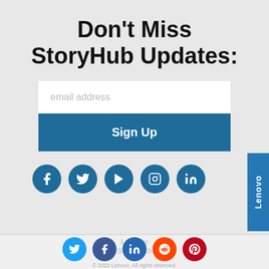Don't Miss StoryHub Updates:
[Figure (screenshot): Email signup form with an email address input field and a Sign Up button]
[Figure (infographic): Five social media icon circles: Facebook, Twitter, YouTube, Instagram, LinkedIn]
[Figure (logo): Lenovo vertical tab on right side]
[Figure (infographic): Footer social icons: Twitter, Facebook, LinkedIn, Reddit, Pinterest]
© 2022 Lenovo. All rights reserved.